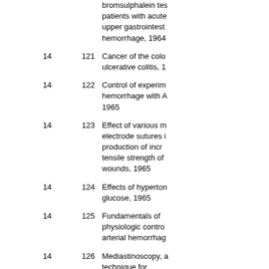bromsulphalein test patients with acute upper gastrointestinal hemorrhage, 1964
14  121  Cancer of the colon ulcerative colitis, 1
14  122  Control of experimental hemorrhage with A, 1965
14  123  Effect of various metals electrode sutures in production of increased tensile strength of wounds, 1965
14  124  Effects of hypertonic glucose, 1965
14  125  Fundamentals of physiologic control arterial hemorrhage
14  126  Mediastinoscopy, a technique for undiagnosed parahilar lesions, 1965